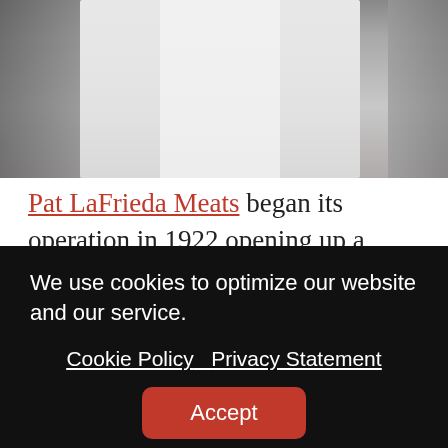[Figure (photo): Partial photo of people wearing white coats/uniforms, showing torso area only, in what appears to be a meat processing or commercial kitchen environment.]
Pat LaFrieda Meats began its operation in 1922 opening up a butcher in Brooklyn.  He taught his boys the trade.  The original Pat LaFrieda, the grandfather, saw the opportunity to provide restaurants with meat and opened up his trade in the meat packing area of NYC.  His son became his partner and then his son
We use cookies to optimize our website and our service.
Cookie Policy  Privacy Statement
Accept